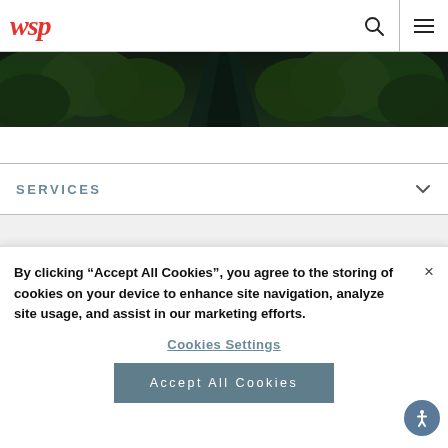WSP logo, search icon, menu icon
[Figure (photo): Aerial view of a dark forested road/path from above, dense trees on either side]
SERVICES
By clicking “Accept All Cookies”, you agree to the storing of cookies on your device to enhance site navigation, analyze site usage, and assist in our marketing efforts.
Cookies Settings
Accept All Cookies